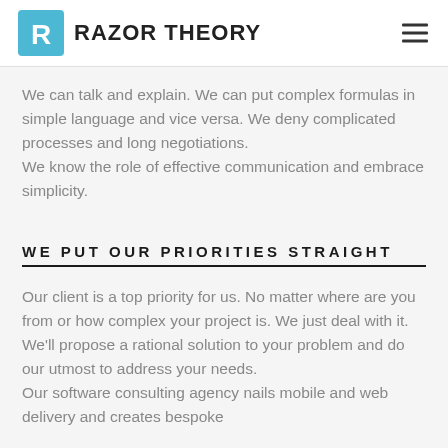RAZOR THEORY
We can talk and explain. We can put complex formulas in simple language and vice versa. We deny complicated processes and long negotiations.
We know the role of effective communication and embrace simplicity.
WE PUT OUR PRIORITIES STRAIGHT
Our client is a top priority for us. No matter where are you from or how complex your project is. We just deal with it. We'll propose a rational solution to your problem and do our utmost to address your needs.
Our software consulting agency nails mobile and web delivery and creates bespoke